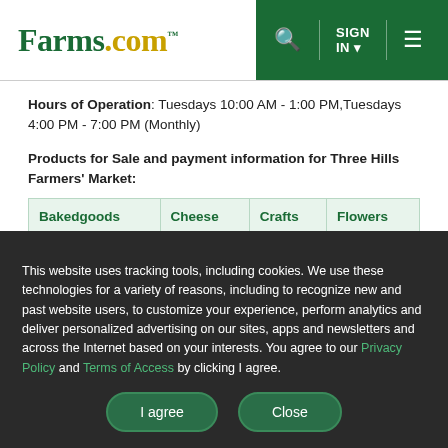Farms.com - SIGN IN - Menu
Hours of Operation: Tuesdays 10:00 AM - 1:00 PM,Tuesdays 4:00 PM - 7:00 PM (Monthly)
Products for Sale and payment information for Three Hills Farmers' Market:
| Bakedgoods | Cheese | Crafts | Flowers |
| --- | --- | --- | --- |
This website uses tracking tools, including cookies. We use these technologies for a variety of reasons, including to recognize new and past website users, to customize your experience, perform analytics and deliver personalized advertising on our sites, apps and newsletters and across the Internet based on your interests. You agree to our Privacy Policy and Terms of Access by clicking I agree.